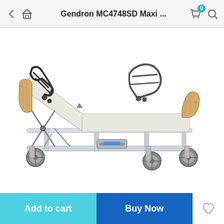Gendron MC4748SD Maxi ...
[Figure (photo): Gendron MC4748SD Maxi Care hospital/medical bed with adjustable head section raised, wooden side panels, metal safety rails, and wheeled frame on white background.]
Add to cart
Buy Now